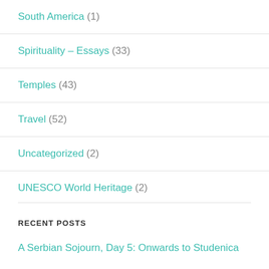South America (1)
Spirituality – Essays (33)
Temples (43)
Travel (52)
Uncategorized (2)
UNESCO World Heritage (2)
RECENT POSTS
A Serbian Sojourn, Day 5: Onwards to Studenica